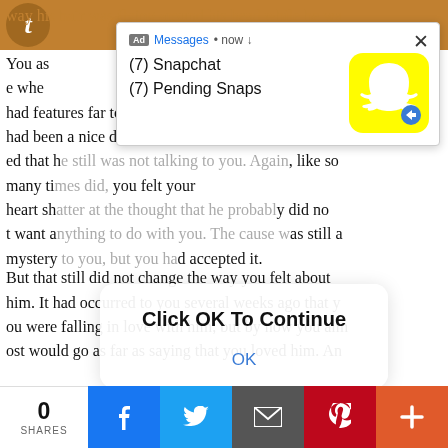way his hair was flying around his head while he wa
[Figure (screenshot): Snapchat mobile ad notification popup showing '(7) Snapchat' and '(7) Pending Snaps' with Snapchat ghost logo on yellow background, close button X in top right]
You as e whe had features far too few smiles from him, it probably had been a nice distraction. But then you remembered that he still was not talking to you. Again, like so many times did, you felt your heart shatter at the thought that he probably did not want anything to do with you. The cause was still a mystery to you, but you had accepted it.
[Figure (screenshot): Browser alert dialog with text 'Click OK To Continue' and an OK button]
But that still did not change the way you felt about him. It had occurred to you several weeks ago that you were falling in love with him, but by now you almost would go as far as saying that you loved him. An
0 SHARES | Facebook | Twitter | Email | Pinterest | +